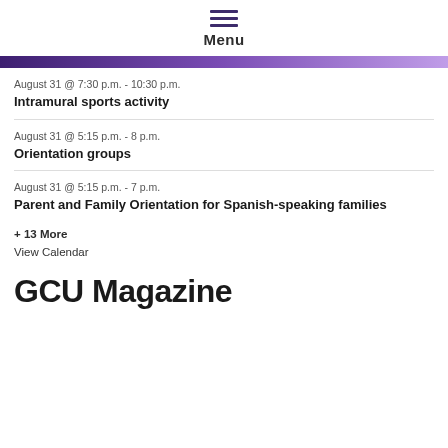Menu
August 31 @ 7:30 p.m. - 10:30 p.m.
Intramural sports activity
August 31 @ 5:15 p.m. - 8 p.m.
Orientation groups
August 31 @ 5:15 p.m. - 7 p.m.
Parent and Family Orientation for Spanish-speaking families
+ 13 More
View Calendar
GCU Magazine